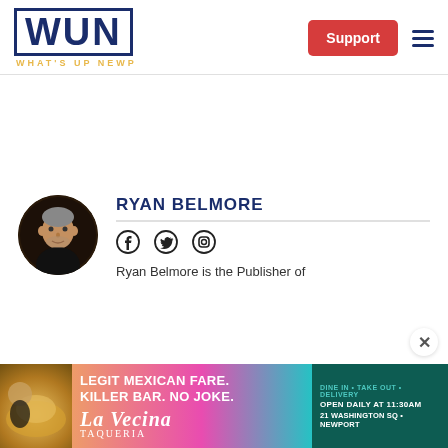[Figure (logo): WUN - What's Up Newp logo with blue block letters and yellow subtitle, plus Support button and hamburger menu]
[Figure (photo): Circular profile photo of Ryan Belmore, a man with short grey hair wearing a black shirt]
RYAN BELMORE
[Figure (infographic): Social media icons: Facebook, Twitter, Instagram]
Ryan Belmore is the Publisher of
[Figure (photo): La Vecina taqueria advertisement banner: Legit Mexican Fare. Killer Bar. No Joke. Dine In • Take Out • Delivery. Open Daily at 11:30am. 21 Washington Sq • Newport]